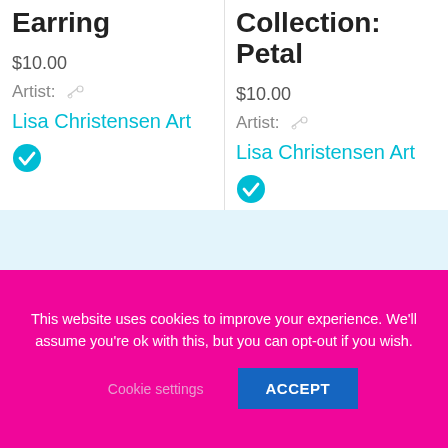Earring
$10.00
Artist:
Lisa Christensen Art
Collection: Petal
$10.00
Artist:
Lisa Christensen Art
This website uses cookies to improve your experience. We'll assume you're ok with this, but you can opt-out if you wish.
Cookie settings
ACCEPT